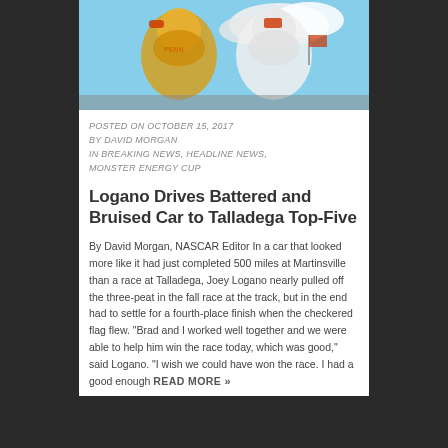[Figure (photo): Two NASCAR mascot figures or stuffed animals in racing gear against a blue sky background]
POSTED ON OCTOBER 15, 2017
BY DAVID MORGAN
IN BREAKING NEWS, HEADLINE NEWS,
MONSTER ENERGY CUP
Logano Drives Battered and Bruised Car to Talladega Top-Five
By David Morgan, NASCAR Editor In a car that looked more like it had just completed 500 miles at Martinsville than a race at Talladega, Joey Logano nearly pulled off the three-peat in the fall race at the track, but in the end had to settle for a fourth-place finish when the checkered flag flew. "Brad and I worked well together and we were able to help him win the race today, which was good," said Logano. "I wish we could have won the race. I had a good enough READ MORE »